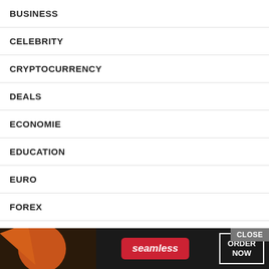BUSINESS
CELEBRITY
CRYPTOCURRENCY
DEALS
ECONOMIE
EDUCATION
EURO
FOREX
GAMING
HEALTH
LIFE STYLE
NBA
[Figure (screenshot): Seamless food delivery advertisement banner with pizza image, Seamless logo in red pill, and ORDER NOW button with CLOSE button overlay]